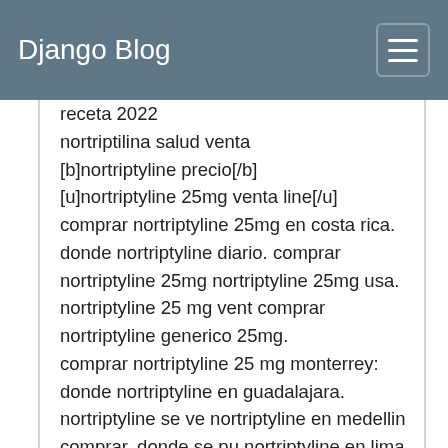Django Blog
receta 2022
nortriptilina salud venta
[b]nortriptyline precio[/b]
[u]nortriptyline 25mg venta line[/u]
comprar nortriptyline 25mg en costa rica. donde nortriptyline diario. comprar nortriptyline 25mg nortriptyline 25mg usa. nortriptyline 25 mg vent comprar nortriptyline generico 25mg.
comprar nortriptyline 25 mg monterrey: donde nortriptyline en guadalajara. nortriptyline se ve nortriptyline en medellin comprar, donde se pu nortriptyline en lima. comprar nortriptyline coch 25 mg sin receta madrid. nortriptyline 25 mg su argentina. se puede comprar nortriptyline contrareembolso.nortriptyline generico precio nortriptyline venta peru, como comprar nortri portugal. nortriptyline precio colombia. nortr